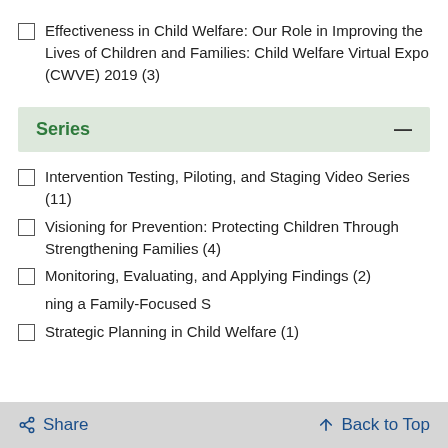Effectiveness in Child Welfare: Our Role in Improving the Lives of Children and Families: Child Welfare Virtual Expo (CWVE) 2019 (3)
Series
Intervention Testing, Piloting, and Staging Video Series (11)
Visioning for Prevention: Protecting Children Through Strengthening Families (4)
Monitoring, Evaluating, and Applying Findings (2)
ning a Family-Focused S…
Strategic Planning in Child Welfare (1)